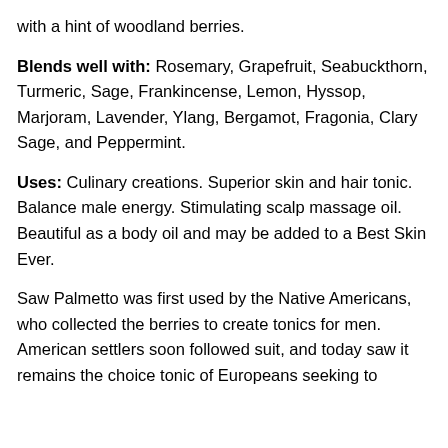with a hint of woodland berries.
Blends well with: Rosemary, Grapefruit, Seabuckthorn, Turmeric, Sage, Frankincense, Lemon, Hyssop, Marjoram, Lavender, Ylang, Bergamot, Fragonia, Clary Sage, and Peppermint.
Uses: Culinary creations. Superior skin and hair tonic. Balance male energy. Stimulating scalp massage oil. Beautiful as a body oil and may be added to a Best Skin Ever.
Saw Palmetto was first used by the Native Americans, who collected the berries to create tonics for men. American settlers soon followed suit, and today saw it remains the choice tonic of Europeans seeking to